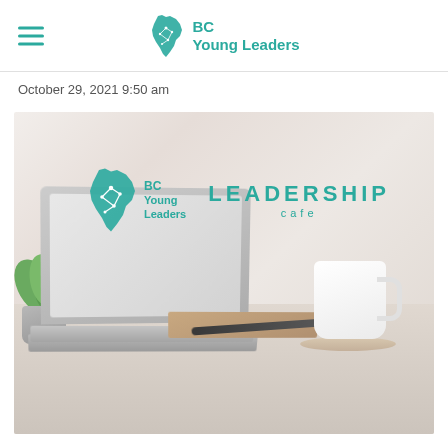BC Young Leaders
October 29, 2021 9:50 am
[Figure (photo): BC Young Leaders Leadership Cafe promotional image showing a laptop, coffee mug, plant, and notebook on a desk with the BC Young Leaders logo and 'LEADERSHIP cafe' text overlay]